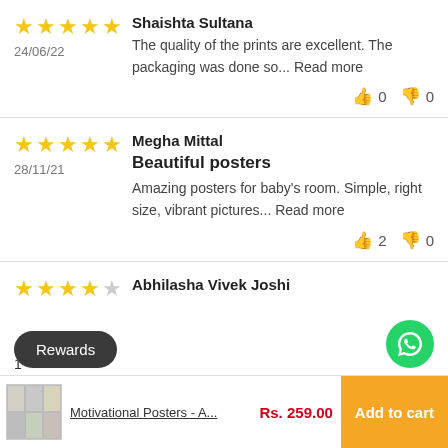Shaishta Sultana — 5 stars — 24/06/22 — The quality of the prints are excellent. The packaging was done so... Read more — 👍 0 👎 0
Megha Mittal — 5 stars — 28/11/21 — Beautiful posters — Amazing posters for baby's room. Simple, right size, vibrant pictures... Read more — 👍 2 👎 0
Abhilasha Vivek Joshi — 4 stars
Motivational Posters - A... Rs. 259.00 Add to cart
Rewards
1